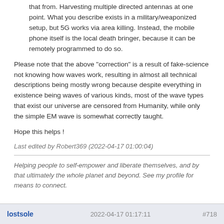that from. Harvesting multiple directed antennas at one point. What you describe exists in a military/weaponized setup, but 5G works via area killing. Instead, the mobile phone itself is the local death bringer, because it can be remotely programmed to do so.
Please note that the above "correction" is a result of fake-science not knowing how waves work, resulting in almost all technical descriptions being mostly wrong because despite everything in existence being waves of various kinds, most of the wave types that exist our universe are censored from Humanity, while only the simple EM wave is somewhat correctly taught.
Hope this helps !
Last edited by Robert369 (2022-04-17 01:00:04)
Helping people to self-empower and liberate themselves, and by that ultimately the whole planet and beyond. See my profile for means to connect.
lostsole   2022-04-17 01:17:11   #718